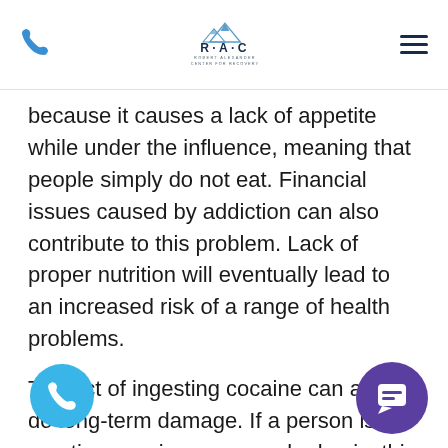RAC - Robert Alexander Center for Recovery
because it causes a lack of appetite while under the influence, meaning that people simply do not eat. Financial issues caused by addiction can also contribute to this problem. Lack of proper nutrition will eventually lead to an increased risk of a range of health problems.
The act of ingesting cocaine can also do long-term damage. If a person is snorting cocaine on a regular basis, this will do damage to the nose/throat, making it hard to swallow or causing excessive nosebleeds. Many people experience